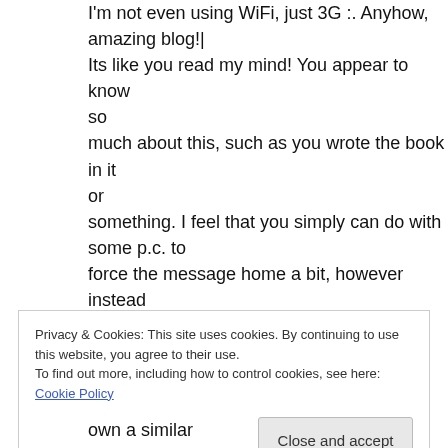I'm not even using WiFi, just 3G :. Anyhow, amazing blog!|
Its like you read my mind! You appear to know so much about this, such as you wrote the book in it or something. I feel that you simply can do with some p.c. to force the message home a bit, however instead of that, this is fantastic blog. A fantastic read. I will certainly be back.|
Privacy & Cookies: This site uses cookies. By continuing to use this website, you agree to their use.
To find out more, including how to control cookies, see here: Cookie Policy
Close and accept
own a similar